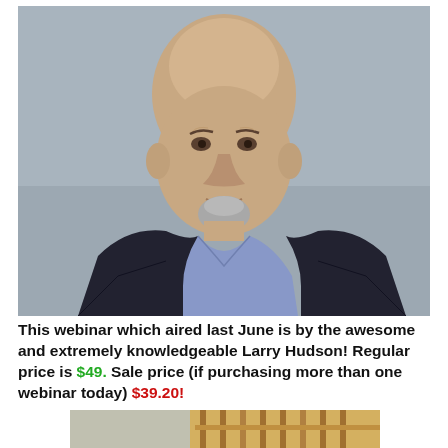[Figure (photo): Headshot of a bald middle-aged man with a grey goatee, wearing a dark blazer over a light blue/lavender shirt, photographed against a grey background.]
This webinar which aired last June is by the awesome and extremely knowledgeable Larry Hudson! Regular price is $49. Sale price (if purchasing more than one webinar today) $39.20!
[Figure (photo): Partial view of chairs or furniture, partially cropped at the bottom of the page.]